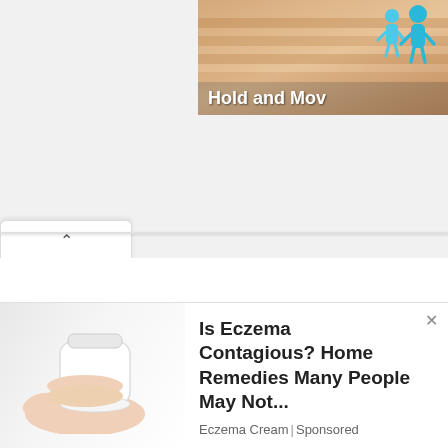[Figure (screenshot): Partial game advertisement banner showing wooden-textured background with blue cartoon human figures and bold white text reading 'Hold and Mov' (truncated) on the right side of the top area]
[Figure (screenshot): UI collapse/accordion tab with an upward-pointing chevron arrow on a white rounded tab element, indicating a collapsible panel]
[Figure (screenshot): Advertisement banner at bottom of page showing a hand holding a white cylindrical tube/cream, with ad headline 'Is Eczema Contagious? Home Remedies Many People May Not...' from 'Eczema Cream | Sponsored', with a close (x) button]
Is Eczema Contagious? Home Remedies Many People May Not...
Eczema Cream | Sponsored